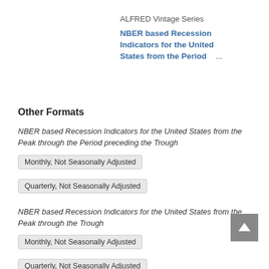ALFRED Vintage Series
NBER based Recession Indicators for the United States from the Period ...
Other Formats
NBER based Recession Indicators for the United States from the Peak through the Period preceding the Trough
Monthly, Not Seasonally Adjusted
Quarterly, Not Seasonally Adjusted
NBER based Recession Indicators for the United States from the Peak through the Trough
Monthly, Not Seasonally Adjusted
Quarterly, Not Seasonally Adjusted
NBER based Recession Indicators for the United States from the Period following the Peak through the Trough